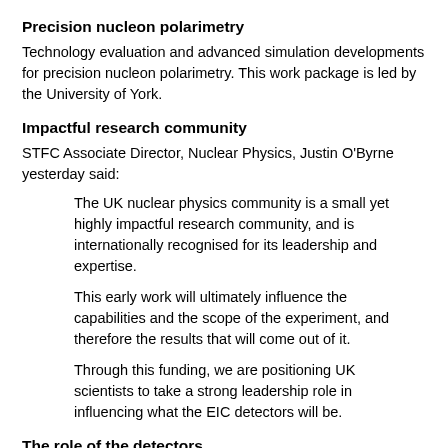Precision nucleon polarimetry
Technology evaluation and advanced simulation developments for precision nucleon polarimetry. This work package is led by the University of York.
Impactful research community
STFC Associate Director, Nuclear Physics, Justin O'Byrne yesterday said:
The UK nuclear physics community is a small yet highly impactful research community, and is internationally recognised for its leadership and expertise.
This early work will ultimately influence the capabilities and the scope of the experiment, and therefore the results that will come out of it.
Through this funding, we are positioning UK scientists to take a strong leadership role in influencing what the EIC detectors will be.
The role of the detectors
The EIC is like a high-energy electron microscope but with the ability to explore the internal structure of protons and nuclei.